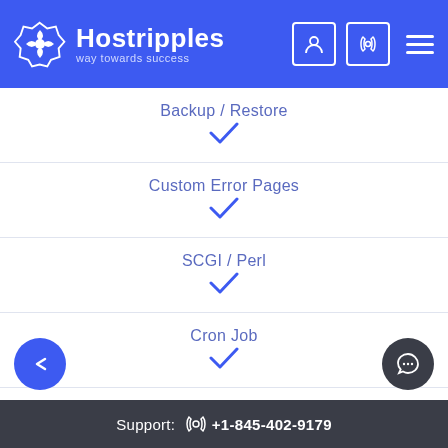[Figure (logo): Hostripples logo with text 'way towards success' on blue header bar]
| Feature | Included |
| --- | --- |
| Backup / Restore | ✓ |
| Custom Error Pages | ✓ |
| SCGI / Perl | ✓ |
| Cron Job | ✓ |
| MIME Type |  |
Support: +1-845-402-9179